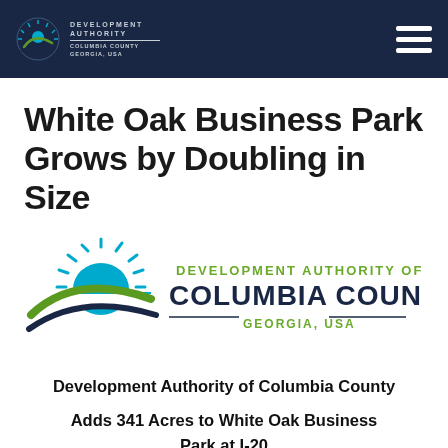Development Authority | Columbia County Georgia, USA
White Oak Business Park Grows by Doubling in Size
[Figure (logo): Development Authority of Columbia County Georgia, USA logo with sunburst and swoosh graphic]
Development Authority of Columbia County
Adds 341 Acres to White Oak Business Park at I-20